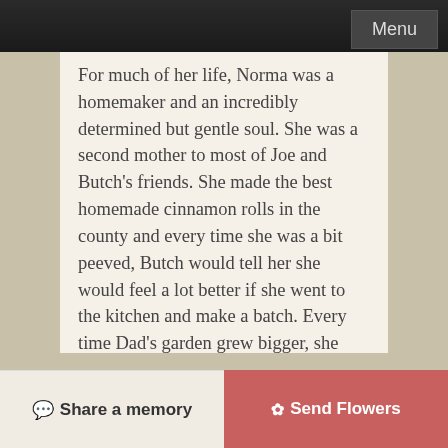Menu
For much of her life, Norma was a homemaker and an incredibly determined but gentle soul. She was a second mother to most of Joe and Butch's friends. She made the best homemade cinnamon rolls in the county and every time she was a bit peeved, Butch would tell her she would feel a lot better if she went to the kitchen and make a batch. Every time Dad's garden grew bigger, she would freeze and can as much as she wanted and then give away the rest when Dad was not around.
Later in life she became a cosmetologist and ran a beauty shop in Velma with many satisfied customers. She always noticed everyone's hair style and practiced doing perms and hair styles on
Share a memory   Send Flowers